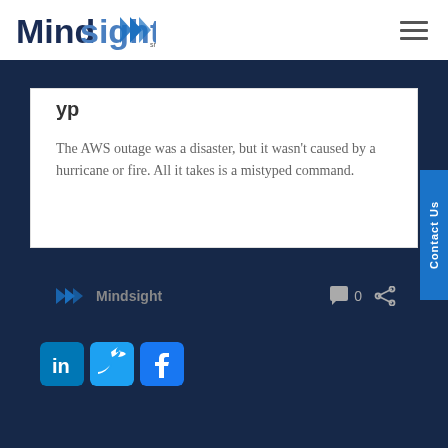Mindsight
The AWS outage was a disaster, but it wasn't caused by a hurricane or fire. All it takes is a mistyped command.
Mindsight   0
[Figure (logo): LinkedIn, Twitter, and Facebook social media icon buttons in blue square icons]